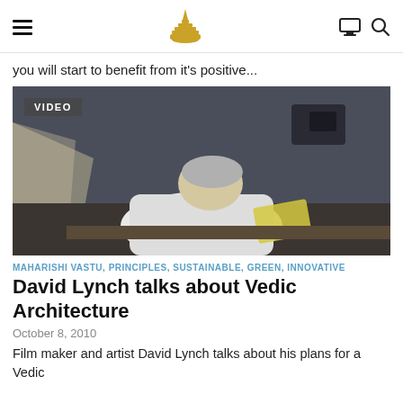Navigation header with hamburger menu, pagoda logo, monitor icon, and search icon
you will start to benefit from it's positive...
[Figure (photo): A man with silver/white hair wearing a white shirt, seated at a desk, leafing through papers. The room is dimly lit with various equipment in the background. A 'VIDEO' label overlays the top-left corner.]
MAHARISHI VASTU, PRINCIPLES, SUSTAINABLE, GREEN, INNOVATIVE
David Lynch talks about Vedic Architecture
October 8, 2010
Film maker and artist David Lynch talks about his plans for a Vedic